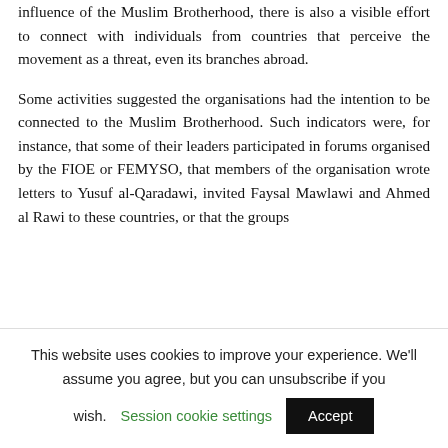influence of the Muslim Brotherhood, there is also a visible effort to connect with individuals from countries that perceive the movement as a threat, even its branches abroad.
Some activities suggested the organisations had the intention to be connected to the Muslim Brotherhood. Such indicators were, for instance, that some of their leaders participated in forums organised by the FIOE or FEMYSO, that members of the organisation wrote letters to Yusuf al-Qaradawi, invited Faysal Mawlawi and Ahmed al Rawi to these countries, or that the groups
This website uses cookies to improve your experience. We'll assume you agree, but you can unsubscribe if you wish.